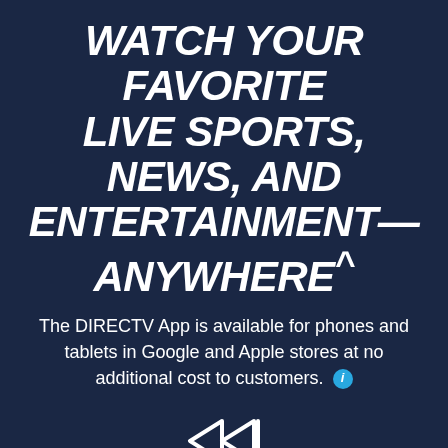WATCH YOUR FAVORITE LIVE SPORTS, NEWS, AND ENTERTAINMENT—ANYWHERE^
The DIRECTV App is available for phones and tablets in Google and Apple stores at no additional cost to customers.
[Figure (illustration): Double rewind/fast-backward arrow icon (two left-pointing triangles) in white outline style]
72 HOUR REWIND
Watch shows that aired in the last 3 days**